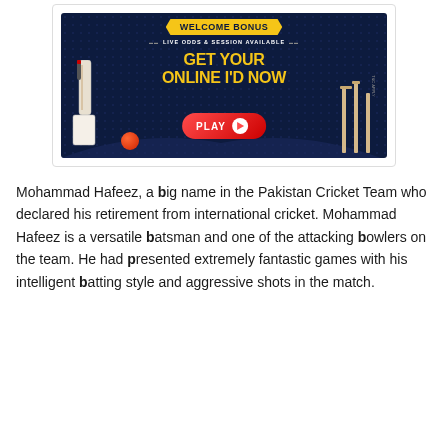[Figure (illustration): Cricket betting advertisement banner with dark navy blue background, yellow 'WELCOME BONUS' banner, text 'LIVE ODDS & SESSION AVAILABLE', 'GET YOUR ONLINE ID NOW' in yellow, a red PLAY button with play icon, cricket bat on left, stumps on right, red ball, and stadium background.]
Mohammad Hafeez, a big name in the Pakistan Cricket Team who declared his retirement from international cricket. Mohammad Hafeez is a versatile batsman and one of the attacking bowlers on the team. He had presented extremely fantastic games with his intelligent batting style and aggressive shots in the match.